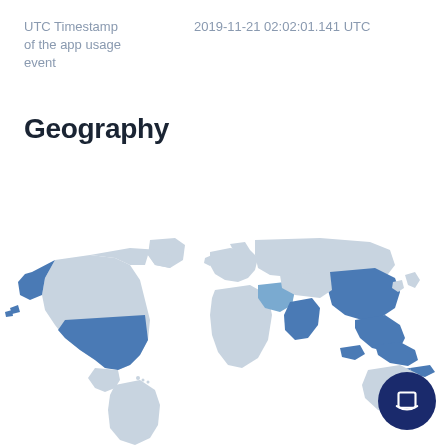UTC Timestamp of the app usage event
2019-11-21 02:02:01.141 UTC
Geography
[Figure (map): World map showing geography data with highlighted regions in blue including USA/Alaska, and parts of Asia/Middle East regions. Non-highlighted countries shown in light grey.]